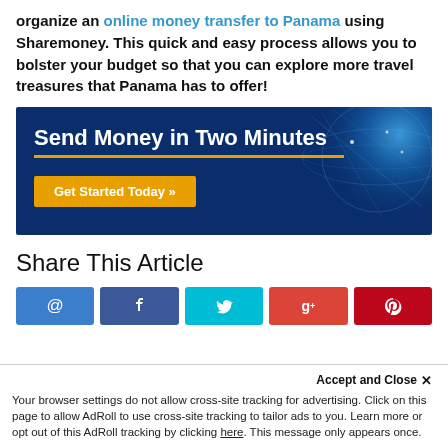organize an online money transfer to Panama using Sharemoney. This quick and easy process allows you to bolster your budget so that you can explore more travel treasures that Panama has to offer!
[Figure (infographic): Sharemoney banner ad with dark blue background, globe graphic on right, text 'Send Money in Two Minutes' with gold underline, and orange 'Get Started Today »' button]
Share This Article
[Figure (infographic): Row of five social share icon buttons: email (blue), Facebook (dark blue), Twitter (cyan), Google+ (red), Pinterest (dark red)]
Accept and Close ✕ Your browser settings do not allow cross-site tracking for advertising. Click on this page to allow AdRoll to use cross-site tracking to tailor ads to you. Learn more or opt out of this AdRoll tracking by clicking here. This message only appears once.